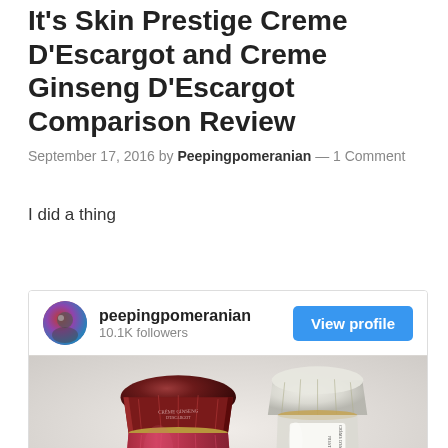It's Skin Prestige Creme D'Escargot and Creme Ginseng D'Escargot Comparison Review
September 17, 2016 by Peepingpomeranian — 1 Comment
I did a thing
[Figure (screenshot): Instagram profile card showing peepingpomeranian with 10.1K followers and a View profile button, followed by a product photo of two skincare cream jars (one dark burgundy/maroon faceted jar and one clear/white faceted jar labeled Prestige Creme D'Escargot)]